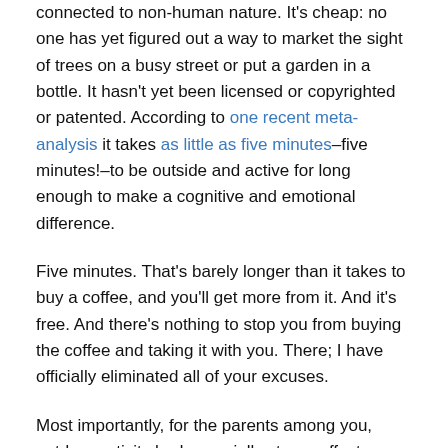connected to non-human nature. It's cheap: no one has yet figured out a way to market the sight of trees on a busy street or put a garden in a bottle. It hasn't yet been licensed or copyrighted or patented. According to one recent meta-analysis it takes as little as five minutes–five minutes!–to be outside and active for long enough to make a cognitive and emotional difference.
Five minutes. That's barely longer than it takes to buy a coffee, and you'll get more from it. And it's free. And there's nothing to stop you from buying the coffee and taking it with you. There; I have officially eliminated all of your excuses.
Most importantly, for the parents among you, outdoor activity had especially strong effects on children.
Kids need to play outside.